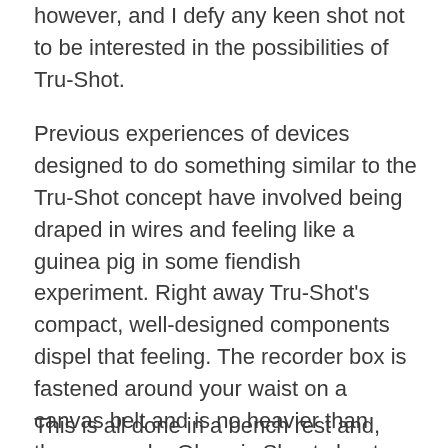however, and I defy any keen shot not to be interested in the possibilities of Tru-Shot.
Previous experiences of devices designed to do something similar to the Tru-Shot concept have involved being draped in wires and feeling like a guinea pig in some fiendish experiment. Right away Tru-Shot's compact, well-designed components dispel that feeling. The recorder box is fastened around your waist on a canvas belt and is no heavier than those worn by Olympic Skeet shooters to hold a box of cartridges. The cable to the video camera, which can be fitted to a side-by-side or over-and-under, is positioned in front of the fore-end by means of an aircraft-weight aluminium clamp, rubber lined so as not to damage the barrels.
This is all done in a bench rest and, rather like zeroing a